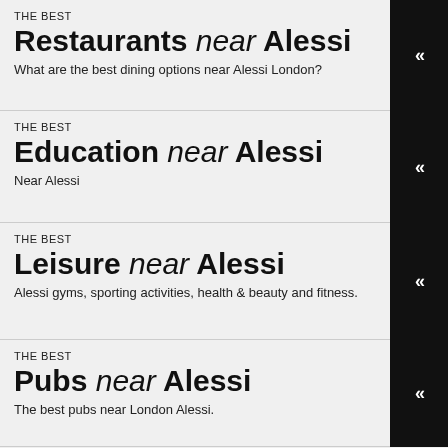THE BEST
Restaurants near Alessi
What are the best dining options near Alessi London?
THE BEST
Education near Alessi
Near Alessi
THE BEST
Leisure near Alessi
Alessi gyms, sporting activities, health & beauty and fitness.
THE BEST
Pubs near Alessi
The best pubs near London Alessi.